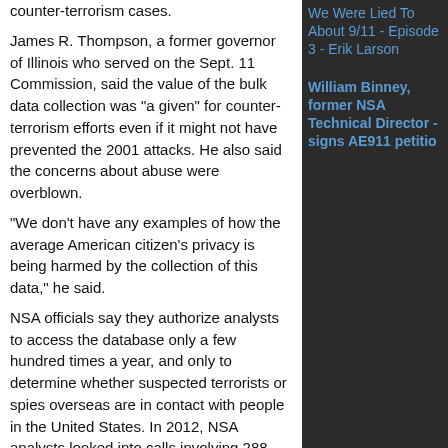counter-terrorism cases.
James R. Thompson, a former governor of Illinois who served on the Sept. 11 Commission, said the value of the bulk data collection was "a given" for counter-terrorism efforts even if it might not have prevented the 2001 attacks. He also said the concerns about abuse were overblown.
"We don't have any examples of how the average American citizen's privacy is being harmed by the collection of this data," he said.
NSA officials say they authorize analysts to access the database only a few hundred times a year, and only to determine whether suspected terrorists or spies overseas are in contact with people in the United States. In 2012, NSA analysts looked into calls involving 288 telephone numbers, John Inglis, the NSA's top civilian official, said in a recent interview with NPR. Examining the numbers that were in contact with those initial 288 as well as those in contact with that second tier meant the agency looked at about 6,000 phone numbers in total that year, he said.
To date, Snowden's disclosures have produced no evidence to suggest the NSA or other agencies have sought to search details about the personal lives or activities of Americans other than terrorism suspects.
christi.parsons@latimes.com
We Were Lied To About 9/11 - Episode 3 - Erik Larson
William Binney, former NSA Technical Director - signs AE911 petition